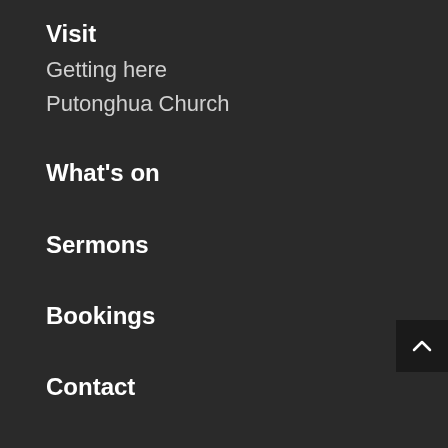Visit
Getting here
Putonghua Church
What's on
Sermons
Bookings
Contact
Give
Get involved
Growth Groups